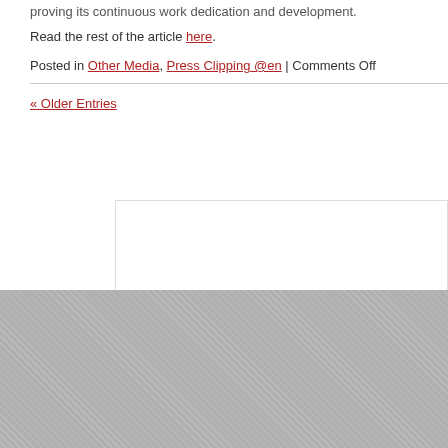proving its continuous work dedication and development.
Read the rest of the article here.
Posted in Other Media, Press Clipping @en | Comments Off
« Older Entries
[Figure (other): White sidebar/widget box area]
Preuzmite .PDF datoteke o Klasteru / Download .PDF Clus
Klaster poljomehanizacije d
Trg Ljudevita Gaja 6, 31000 Osijek, Croatia I T. i F. + 385 31 251 010 I